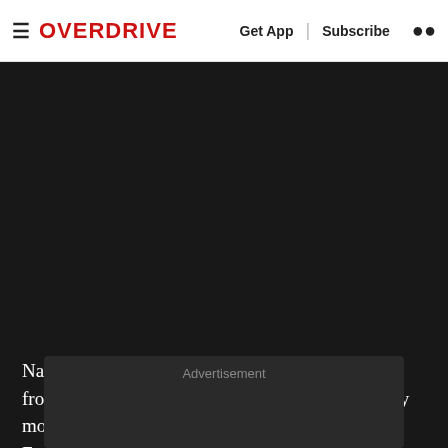≡ OVERDRIVE   Get App | Subscribe 🔍
Naturally this was met by considerable backlash from the motorsport community and the retaliatory movement was spearheaded by the Special Equipment Makers Association or SEMA who met with the EPA to protest this ruling.
Advertisement